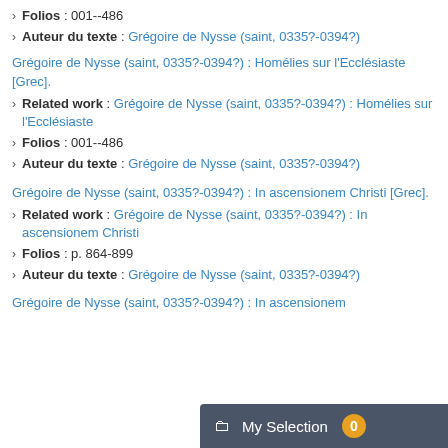Folios : 001--486
Auteur du texte : Grégoire de Nysse (saint, 0335?-0394?)
Grégoire de Nysse (saint, 0335?-0394?) : Homélies sur l'Ecclésiaste [Grec].
Related work : Grégoire de Nysse (saint, 0335?-0394?) : Homélies sur l'Ecclésiaste
Folios : 001--486
Auteur du texte : Grégoire de Nysse (saint, 0335?-0394?)
Grégoire de Nysse (saint, 0335?-0394?) : In ascensionem Christi [Grec].
Related work : Grégoire de Nysse (saint, 0335?-0394?) : In ascensionem Christi
Folios : p. 864-899
Auteur du texte : Grégoire de Nysse (saint, 0335?-0394?)
Grégoire de Nysse (saint, 0335?-0394?) : In ascensionem